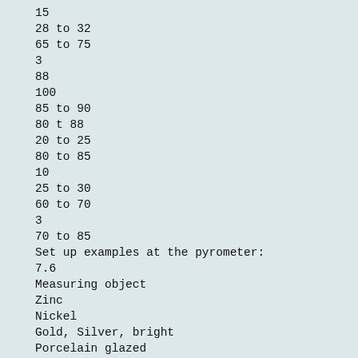15
28 to 32
65 to 75
3
88
100
85 to 90
80 t 88
20 to 25
80 to 85
10
25 to 30
60 to 70
3
70 to 85
Set up examples at the pyrometer:
7.6
Measuring object
Zinc
Nickel
Gold, Silver, bright
Porcelain glazed
Porcelain rough
Graphite
Chamotte
Earthenware, glazed
Brick
Soot
Emi =100%:
Emissivity [%]
IS 5
IGA 5
IS 5 10